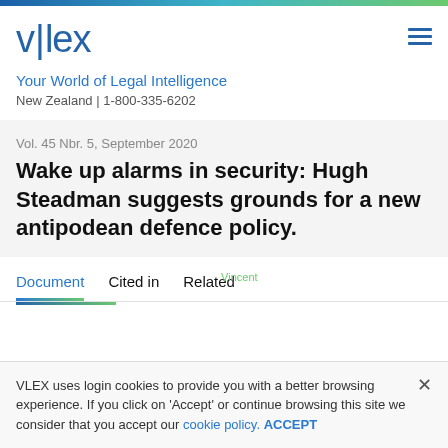[Figure (logo): vlex logo with vertical pipe separator in blue, and hamburger menu icon]
Your World of Legal Intelligence
New Zealand | 1-800-335-6202
Vol. 45 Nbr. 5, September 2020
Wake up alarms in security: Hugh Steadman suggests grounds for a new antipodean defence policy.
Document	Cited in	Related Vincent
VLEX uses login cookies to provide you with a better browsing experience. If you click on 'Accept' or continue browsing this site we consider that you accept our cookie policy. ACCEPT